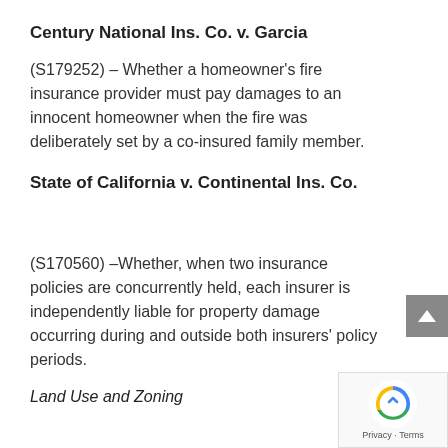Century National Ins. Co. v. Garcia
(S179252) – Whether a homeowner's fire insurance provider must pay damages to an innocent homeowner when the fire was deliberately set by a co-insured family member.
State of California v. Continental Ins. Co.
(S170560) –Whether, when two insurance policies are concurrently held, each insurer is independently liable for property damage occurring during and outside both insurers' policy periods.
Land Use and Zoning